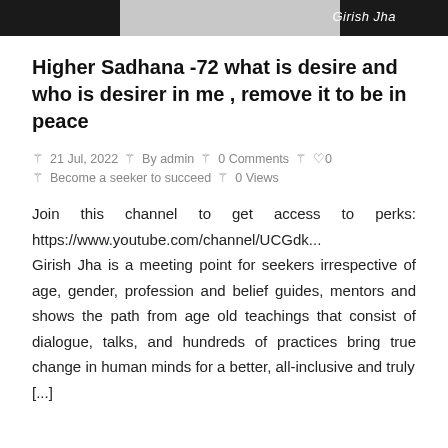[Figure (photo): Top banner image showing a person (Girish Jha) with dark background on sides and light center area. Text 'Girish Jha' partially visible on right side.]
Higher Sadhana -72 what is desire and who is desirer in me , remove it to be in peace
21 Jul, 2022  By admin  0 Comments  0  Become a seeker to succeed  0 Views
Join this channel to get access to perks: https://www.youtube.com/channel/UCGdk... Girish Jha is a meeting point for seekers irrespective of age, gender, profession and belief guides, mentors and shows the path from age old teachings that consist of dialogue, talks, and hundreds of practices bring true change in human minds for a better, all-inclusive and truly [....]